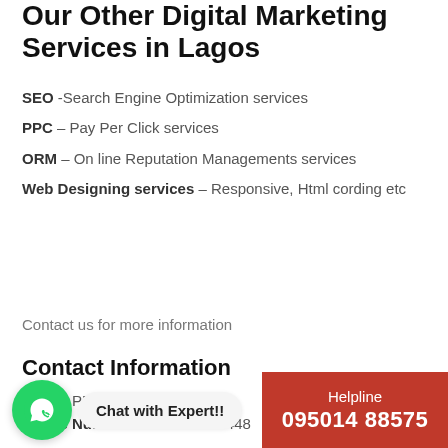Our Other Digital Marketing Services in Lagos
SEO -Search Engine Optimization services
PPC – Pay Per Click services
ORM – On line Reputation Managements services
Web Designing services – Responsive, Html cording etc
Contact us for more information
Contact Information
Name: PPCChamp
Phone Number: +91 9915337448
[Figure (infographic): WhatsApp chat bubble with green circle icon and 'Chat with Expert!!' label]
[Figure (infographic): Red helpline box with text 'Helpline' and number '095014 88575']